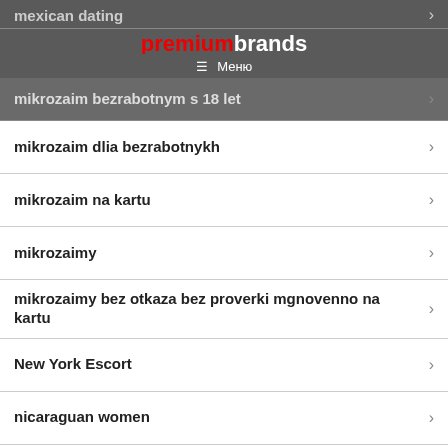mexican dating | premiumbrands | Меню
mikrozaim bezrabotnym s 18 let
mikrozaim dlia bezrabotnykh
mikrozaim na kartu
mikrozaimy
mikrozaimy bez otkaza bez proverki mgnovenno na kartu
New York Escort
nicaraguan women
Nude Thai Brides
onlain kredit na 365 dnei